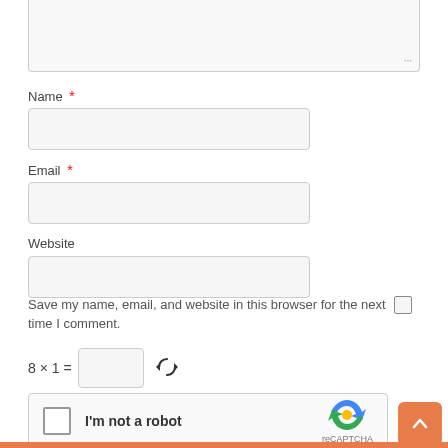[Figure (screenshot): Top portion of a textarea form field (cropped, showing only the bottom portion with resize handle)]
Name *
[Figure (screenshot): Empty text input field for Name]
Email *
[Figure (screenshot): Empty text input field for Email]
Website
[Figure (screenshot): Empty text input field for Website]
Save my name, email, and website in this browser for the next time I comment.
[Figure (screenshot): reCAPTCHA widget with checkbox labeled I'm not a robot]